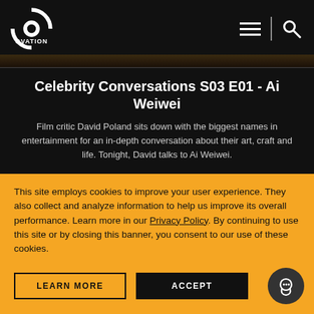OVATION
[Figure (illustration): Dark banner/image strip at top of page]
Celebrity Conversations S03 E01 - Ai Weiwei
Film critic David Poland sits down with the biggest names in entertainment for an in-depth conversation about their art, craft and life. Tonight, David talks to Ai Weiwei.
This site employs cookies to improve your user experience. They also collect and analyze information to help us improve its overall performance. Learn more in our Privacy Policy. By continuing to use this site or by closing this banner, you consent to our use of these cookies.
LEARN MORE
ACCEPT